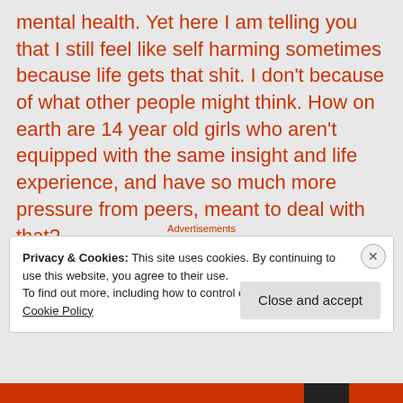mental health. Yet here I am telling you that I still feel like self harming sometimes because life gets that shit. I don't because of what other people might think. How on earth are 14 year old girls who aren't equipped with the same insight and life experience, and have so much more pressure from peers, meant to deal with that?
Advertisements
Privacy & Cookies: This site uses cookies. By continuing to use this website, you agree to their use.
To find out more, including how to control cookies, see here:
Cookie Policy
Close and accept